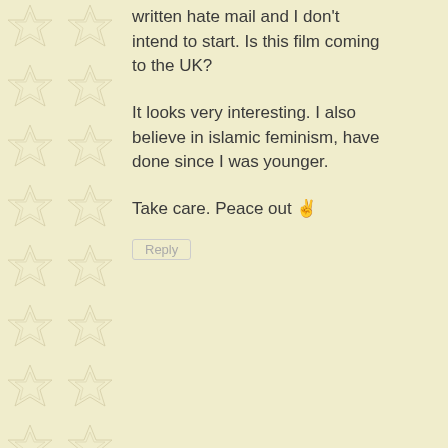written hate mail and I don't intend to start. Is this film coming to the UK?

It looks very interesting. I also believe in islamic feminism, have done since I was younger.

Take care. Peace out ✌
Reply
[Figure (illustration): Default grey avatar placeholder image with silhouette of a person]
Salim says:
April 22, 2015 at 4:38 am
You have been very brave in your endeavour. Allah be with you. Surely you are not the first 'Gay' to do the Hajj! And every